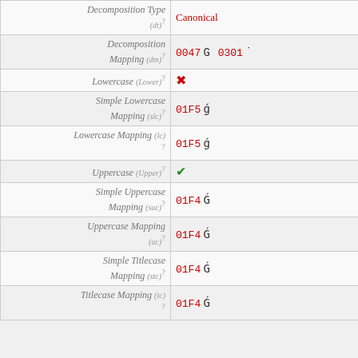| Property | Value |
| --- | --- |
| Decomposition Type (dt) | Canonical |
| Decomposition Mapping (dm) | 0047 G  0301 ̈ |
| Lowercase (Lower) | ✗ |
| Simple Lowercase Mapping (slc) | 01F5 ǵ |
| Lowercase Mapping (lc) | 01F5 ǵ |
| Uppercase (Upper) | ✓ |
| Simple Uppercase Mapping (suc) | 01F4 Ǵ |
| Uppercase Mapping (uc) | 01F4 Ǵ |
| Simple Titlecase Mapping (stc) | 01F4 Ǵ |
| Titlecase Mapping (tc) | 01F4 Ǵ |